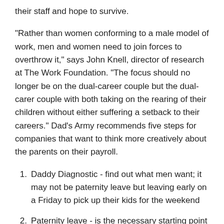their staff and hope to survive.
"Rather than women conforming to a male model of work, men and women need to join forces to overthrow it," says John Knell, director of research at The Work Foundation. "The focus should no longer be on the dual-career couple but the dual-carer couple with both taking on the rearing of their children without either suffering a setback to their careers." Dad's Army recommends five steps for companies that want to think more creatively about the parents on their payroll.
Daddy Diagnostic - find out what men want; it may not be paternity leave but leaving early on a Friday to pick up their kids for the weekend
Paternity leave - is the necessary starting point but companies must think beyond it; children will need two parents throughout their lives
Time Sovereignty - grant employers more control of